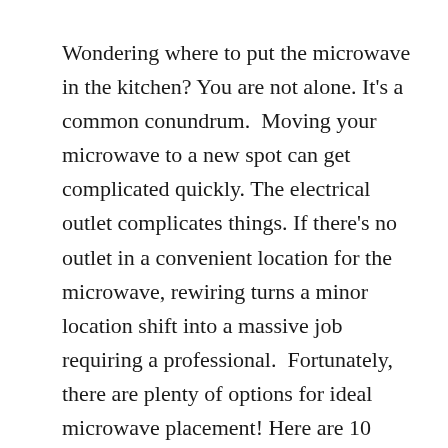Wondering where to put the microwave in the kitchen? You are not alone. It's a common conundrum.  Moving your microwave to a new spot can get complicated quickly. The electrical outlet complicates things. If there's no outlet in a convenient location for the microwave, rewiring turns a minor location shift into a massive job requiring a professional.  Fortunately, there are plenty of options for ideal microwave placement! Here are 10 places to put the microwave in the kitchen. Elevated Locations  An overhead microwave keeps your countertop clear and saves space. Here are 5 overhead spots for your microwave.  1. Over the range  This is the most common choice in kitchens. Position your microwave above the stove to keep it up and out of